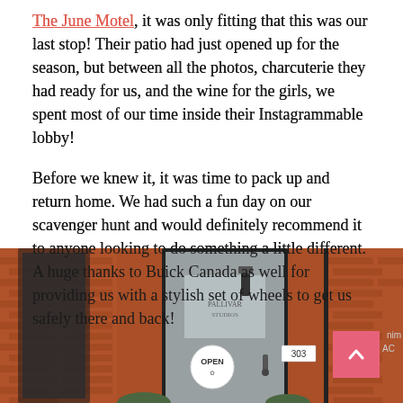The June Motel, it was only fitting that this was our last stop! Their patio had just opened up for the season, but between all the photos, charcuterie they had ready for us, and the wine for the girls, we spent most of our time inside their Instagrammable lobby!
Before we knew it, it was time to pack up and return home. We had such a fun day on our scavenger hunt and would definitely recommend it to anyone looking to do something a little different. A huge thanks to Buick Canada as well for providing us with a stylish set of wheels to get us safely there and back!
[Figure (photo): Exterior of a brick building storefront with a glass door showing an 'OPEN' sign and the number 303 visible. Brick facade with dark window frames.]